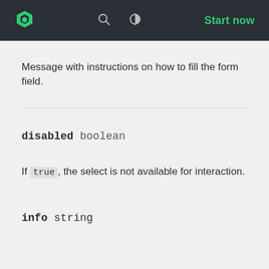Start now
Message with instructions on how to fill the form field.
disabled boolean
If true, the select is not available for interaction.
info string